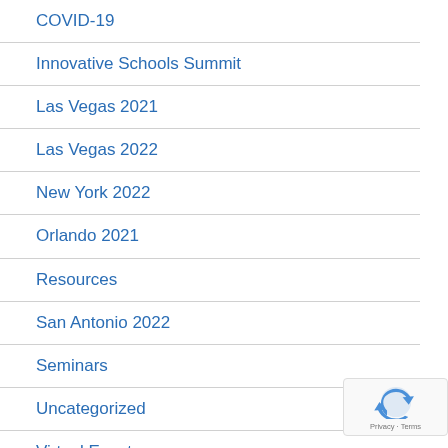COVID-19
Innovative Schools Summit
Las Vegas 2021
Las Vegas 2022
New York 2022
Orlando 2021
Resources
San Antonio 2022
Seminars
Uncategorized
Virtual Events